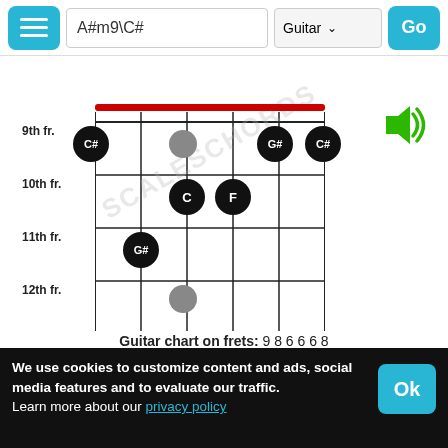A#m9\C# | Guitar | Go
[Figure (other): Guitar chord diagram for A#m9\C# showing frets 9-13 with notes C#, G#, C# on 9th fret, C and F on 10th fret, G# on 11th fret, and gray dots. Red barre bar at top. Green speaker icon.]
Guitar chart on frets: 9 8 6 6 6 8
[Figure (other): Fretboard view showing strings E, B, G, D with note labels F, C#, G# marked on frets near nut, and C on E string higher up.]
We use cookies to customize content and ads, social media features and to evaluate our traffic.
Learn more about our privacy policy